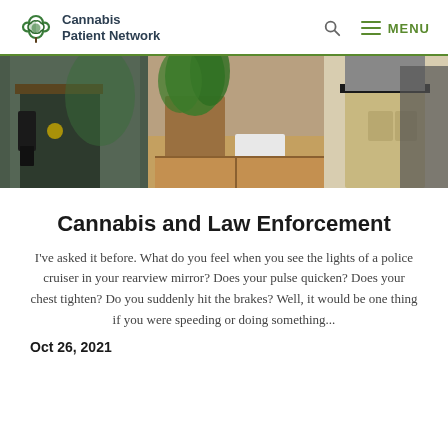Cannabis Patient Network | MENU
[Figure (photo): Photo showing law enforcement officer with gun holster on left, cannabis plants in brown paper bags in center, and person in khaki pants on right]
Cannabis and Law Enforcement
I've asked it before. What do you feel when you see the lights of a police cruiser in your rearview mirror? Does your pulse quicken? Does your chest tighten? Do you suddenly hit the brakes? Well, it would be one thing if you were speeding or doing something...
Oct 26, 2021